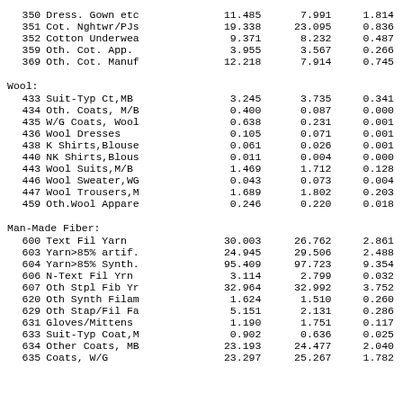| Code | Description | Col1 | Col2 | Col3 |
| --- | --- | --- | --- | --- |
| 350 | Dress. Gown etc | 11.485 | 7.991 | 1.814 |
| 351 | Cot. Nghtwr/PJs | 19.338 | 23.095 | 0.836 |
| 352 | Cotton Underwea | 9.371 | 8.232 | 0.487 |
| 359 | Oth. Cot. App. | 3.955 | 3.567 | 0.266 |
| 369 | Oth. Cot. Manuf | 12.218 | 7.914 | 0.745 |
Wool:
| Code | Description | Col1 | Col2 | Col3 |
| --- | --- | --- | --- | --- |
| 433 | Suit-Typ Ct,MB | 3.245 | 3.735 | 0.341 |
| 434 | Oth. Coats, M/B | 0.400 | 0.087 | 0.000 |
| 435 | W/G Coats, Wool | 0.638 | 0.231 | 0.001 |
| 436 | Wool Dresses | 0.105 | 0.071 | 0.001 |
| 438 | K Shirts,Blouse | 0.061 | 0.026 | 0.001 |
| 440 | NK Shirts,Blous | 0.011 | 0.004 | 0.000 |
| 443 | Wool Suits,M/B | 1.469 | 1.712 | 0.128 |
| 446 | Wool Sweater,WG | 0.043 | 0.073 | 0.004 |
| 447 | Wool Trousers,M | 1.689 | 1.802 | 0.203 |
| 459 | Oth.Wool Appare | 0.246 | 0.220 | 0.018 |
Man-Made Fiber:
| Code | Description | Col1 | Col2 | Col3 |
| --- | --- | --- | --- | --- |
| 600 | Text Fil Yarn | 30.003 | 26.762 | 2.861 |
| 603 | Yarn>85% artif. | 24.945 | 29.506 | 2.488 |
| 604 | Yarn>85% Synth. | 95.409 | 97.723 | 9.354 |
| 606 | N-Text Fil Yrn | 3.114 | 2.799 | 0.032 |
| 607 | Oth Stpl Fib Yr | 32.964 | 32.992 | 3.752 |
| 620 | Oth Synth Filam | 1.624 | 1.510 | 0.260 |
| 629 | Oth Stap/Fil Fa | 5.151 | 2.131 | 0.286 |
| 631 | Gloves/Mittens | 1.190 | 1.751 | 0.117 |
| 633 | Suit-Typ Coat,M | 0.902 | 0.636 | 0.025 |
| 634 | Other Coats, MB | 23.193 | 24.477 | 2.040 |
| 635 | Coats, W/G | 23.297 | 25.267 | 1.782 |